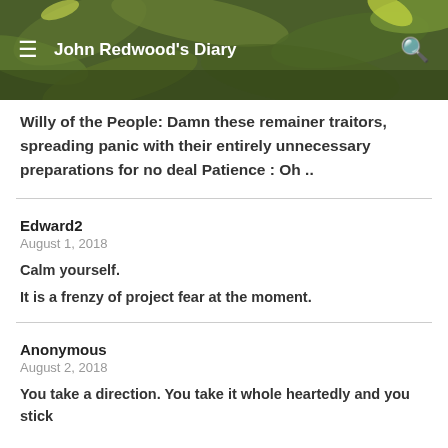John Redwood's Diary
Willy of the People: Damn these remainer traitors, spreading panic with their entirely unnecessary preparations for no deal Patience : Oh ..
Edward2
August 1, 2018
Calm yourself.
It is a frenzy of project fear at the moment.
Anonymous
August 2, 2018
You take a direction. You take it whole heartedly and you stick